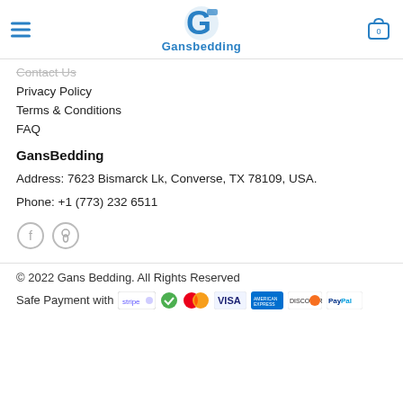Gansbedding
Contact Us
Privacy Policy
Terms & Conditions
FAQ
GansBedding
Address: 7623 Bismarck Lk, Converse, TX 78109, USA.
Phone: +1 (773) 232 6511
[Figure (illustration): Social media icons: Facebook (f) and Pinterest (p) in circles with grey borders]
© 2022 Gans Bedding. All Rights Reserved
Safe Payment with [Stripe, Checkmark, Mastercard, VISA, American Express, Discover, PayPal]